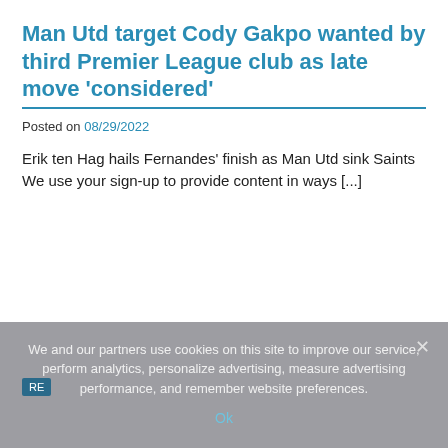Man Utd target Cody Gakpo wanted by third Premier League club as late move 'considered'
Posted on 08/29/2022
Erik ten Hag hails Fernandes' finish as Man Utd sink Saints We use your sign-up to provide content in ways […]
We and our partners use cookies on this site to improve our service, perform analytics, personalize advertising, measure advertising performance, and remember website preferences.
Ok